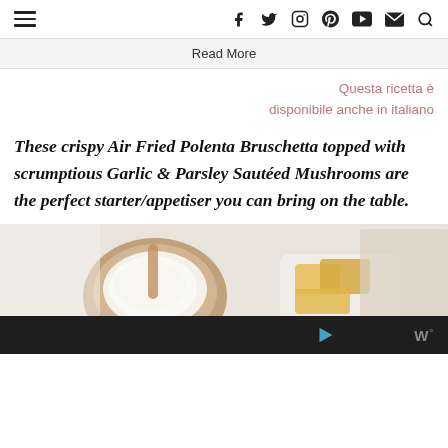≡  f  🐦  ○   pinterest  ▶  ✉  🔍
Read More
Questa ricetta è disponibile anche in italiano
These crispy Air Fried Polenta Bruschetta topped with scrumptious Garlic & Parsley Sautéed Mushrooms are the perfect starter/appetiser you can bring on the table.
[Figure (photo): Food photo showing a wooden bowl with white cream/dip, golden polenta pieces in a white container, and a light-colored napkin on a white background. Bottom portion shows a dark advertisement bar with a play button icon and a stylized 'W' logo.]